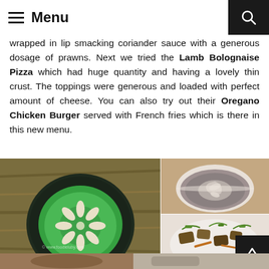Menu
wrapped in lip smacking coriander sauce with a generous dosage of prawns. Next we tried the Lamb Bolognaise Pizza which had huge quantity and having a lovely thin crust. The toppings were generous and loaded with perfect amount of cheese. You can also try out their Oregano Chicken Burger served with French fries which is there in this new menu.
[Figure (photo): Green soup/pea puree in a dark plate with white cream flower design on top, placed on a wooden table]
[Figure (photo): Mushroom or grey soup in a white bowl with cream swirl/latte art on top]
[Figure (photo): Fried food dish with green herbs and vegetables on a white plate]
[Figure (photo): Bottom strip showing two more food photos partially visible]